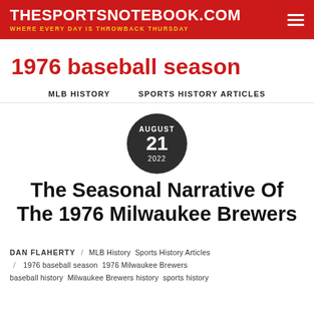THESPORTSNOTEBOOK.COM — WHERE EVERY DAY IS THROWBACK THURSDAY
1976 baseball season
MLB HISTORY   SPORTS HISTORY ARTICLES
[Figure (other): Dark circular date badge showing AUGUST 21 2022]
The Seasonal Narrative Of The 1976 Milwaukee Brewers
DAN FLAHERTY / MLB History  Sports History Articles / 1976 baseball season  1976 Milwaukee Brewers baseball history  Milwaukee Brewers history  sports history